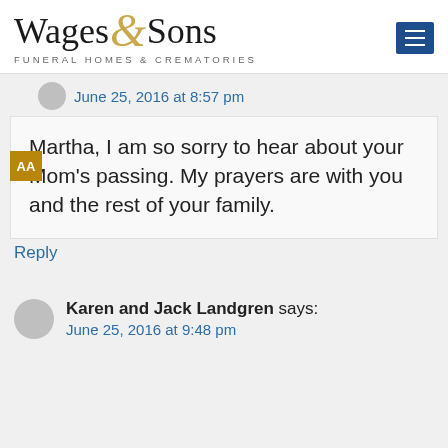[Figure (logo): Wages & Sons Funeral Homes & Crematories logo with decorative ampersand in gold]
June 25, 2016 at 8:57 pm
Martha, I am so sorry to hear about your Mom's passing. My prayers are with you and the rest of your family.
Reply
Karen and Jack Landgren says:
June 25, 2016 at 9:48 pm